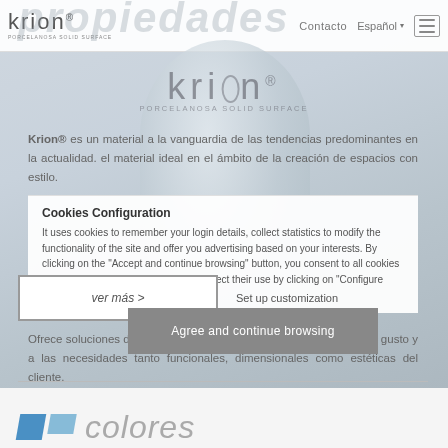[Figure (screenshot): Krion website screenshot showing navigation bar with Krion logo, Contacto link, Español language selector, and hamburger menu icon]
[Figure (logo): Large Krion logo with PORCELANOSA SOLID SURFACE subtitle, overlaid on product image]
Krion® es un material a la vanguardia de las tendencias predominantes en la actualidad. el material ideal en el ámbito de la creación de espacios con estilo.
Cookies Configuration
It uses cookies to remember your login details, collect statistics to modify the functionality of the site and offer you advertising based on your interests. By clicking on the "Accept and continue browsing" button, you consent to all cookies being stored or you can configure or reject their use by clicking on "Configure personalization
Ofrece soluciones de diseño para todos los ámbitos, adaptándose al gusto y a las necesidades tanto funcionales, dimensionales como estéticas del cliente.
ver más >
Set up customization
Agree and continue browsing
[Figure (photo): Bottom strip with blue geometric cubes and italic 'colores' text in grey]